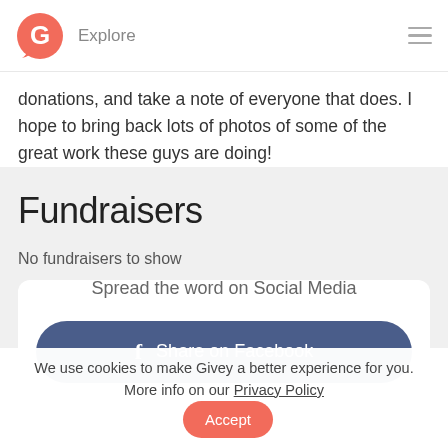Explore
donations, and take a note of everyone that does. I hope to bring back lots of photos of some of the great work these guys are doing!
Fundraisers
No fundraisers to show
Spread the word on Social Media
Share on Facebook
We use cookies to make Givey a better experience for you. More info on our Privacy Policy
Accept